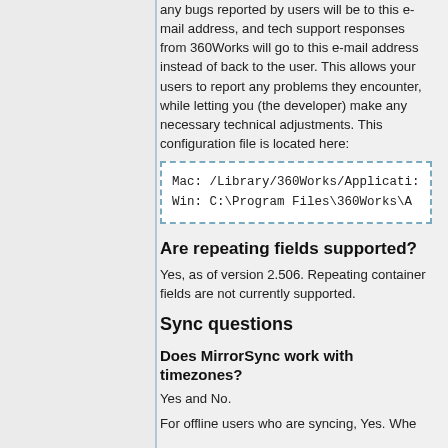any bugs reported by users will be to this e-mail address, and tech support responses from 360Works will go to this e-mail address instead of back to the user. This allows your users to report any problems they encounter, while letting you (the developer) make any necessary technical adjustments. This configuration file is located here:
Mac: /Library/360Works/Applicati:
Win: C:\Program Files\360Works\A
Are repeating fields supported?
Yes, as of version 2.506. Repeating container fields are not currently supported.
Sync questions
Does MirrorSync work with timezones?
Yes and No.
For offline users who are syncing, Yes. Whe